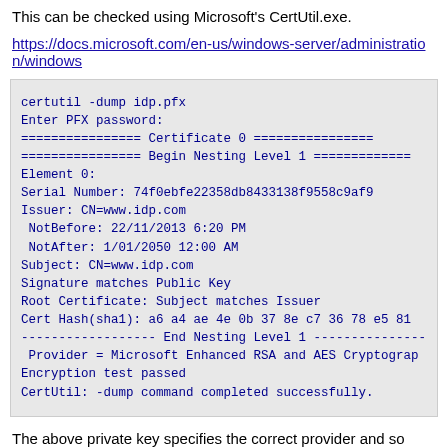This can be checked using Microsoft's CertUtil.exe.
https://docs.microsoft.com/en-us/windows-server/administration/windows
[Figure (screenshot): Code block showing certutil -dump idp.pfx command output with certificate details including serial number, issuer, validity dates, subject, signature match, root certificate match, cert hash, nesting level markers, provider info, and success message.]
The above private key specifies the correct provider and so may be used
If the private key isn't associated with the correct Cryptographic Service P
AES Cryptographic Provider.